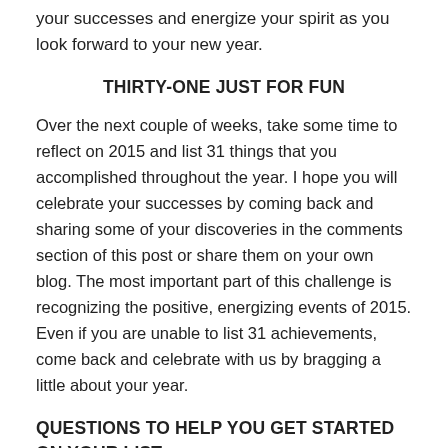your successes and energize your spirit as you look forward to your new year.
THIRTY-ONE JUST FOR FUN
Over the next couple of weeks, take some time to reflect on 2015 and list 31 things that you accomplished throughout the year. I hope you will celebrate your successes by coming back and sharing some of your discoveries in the comments section of this post or share them on your own blog. The most important part of this challenge is recognizing the positive, energizing events of 2015. Even if you are unable to list 31 achievements, come back and celebrate with us by bragging a little about your year.
QUESTIONS TO HELP YOU GET STARTED ON YOUR LIST